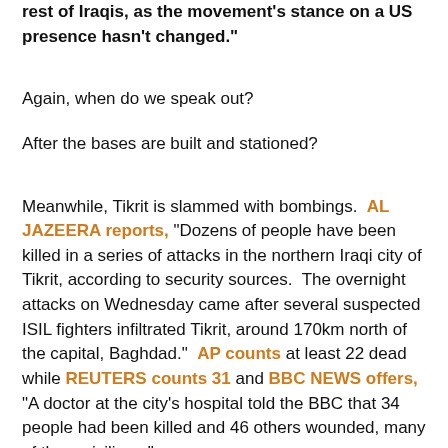rest of Iraqis, as the movement's stance on a US presence hasn't changed."
Again, when do we speak out?
After the bases are built and stationed?
Meanwhile, Tikrit is slammed with bombings. AL JAZEERA reports, "Dozens of people have been killed in a series of attacks in the northern Iraqi city of Tikrit, according to security sources. The overnight attacks on Wednesday came after several suspected ISIL fighters infiltrated Tikrit, around 170km north of the capital, Baghdad." AP counts at least 22 dead while REUTERS counts 31 and BBC NEWS offers, "A doctor at the city's hospital told the BBC that 34 people had been killed and 46 others wounded, many of them civilians."